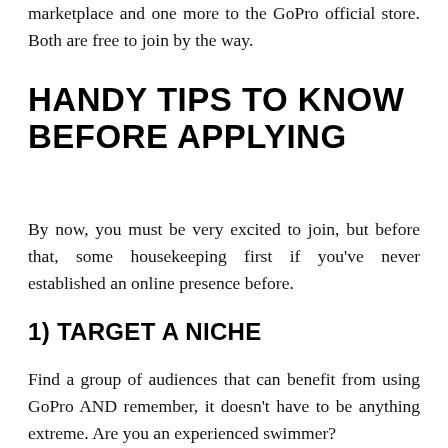marketplace and one more to the GoPro official store. Both are free to join by the way.
HANDY TIPS TO KNOW BEFORE APPLYING
By now, you must be very excited to join, but before that, some housekeeping first if you've never established an online presence before.
1) TARGET A NICHE
Find a group of audiences that can benefit from using GoPro AND remember, it doesn't have to be anything extreme. Are you an experienced swimmer?